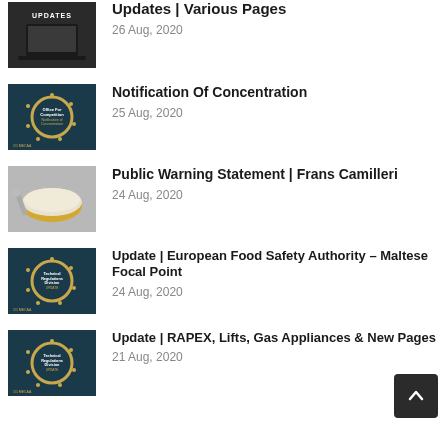Updates | Various Pages
26 Aug, 2020
Notification Of Concentration
25 Aug, 2020
Public Warning Statement | Frans Camilleri
24 Aug, 2020
Update | European Food Safety Authority – Maltese Focal Point
24 Aug, 2020
Update | RAPEX, Lifts, Gas Appliances & New Pages
21 Aug, 2020